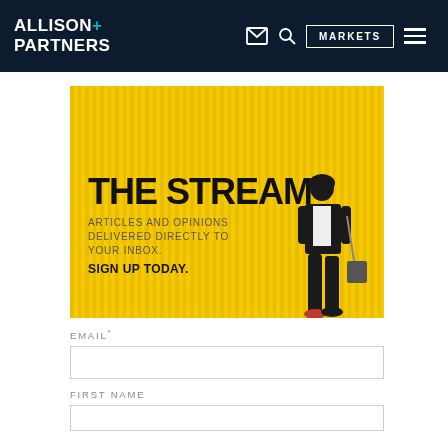[Figure (logo): Allison+Partners logo in white text on dark navy background]
[Figure (screenshot): Website navigation bar with envelope icon, search icon, MARKETS button, and hamburger menu on dark navy background]
[Figure (photo): The Stream newsletter advertisement. Yellow background with vertical corrugated stripes. Text reads: THE STREAM, ARTICLES AND OPINIONS DELIVERED DIRECTLY TO YOUR INBOX. SIGN UP TODAY. Person in black outfit walking in front of yellow wall.]
EMAIL*
FIRST NAME